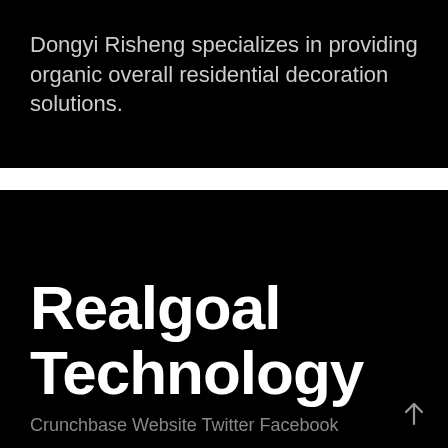Dongyi Risheng specializes in providing organic overall residential decoration solutions.
Realgoal Technology
Crunchbase Website Twitter Facebook